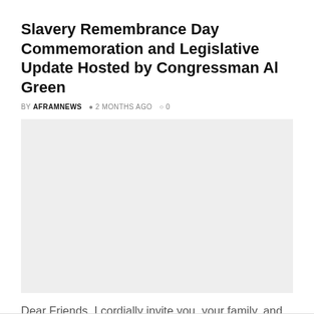Slavery Remembrance Day Commemoration and Legislative Update Hosted by Congressman Al Green
BY AFRAMNEWS  2 MONTHS AGO  0
[Figure (photo): Gray placeholder image area for article photo]
Dear Friends, I cordially invite you, your family, and your friends to the inaugural Slavery Remembrance Day Commemorative Breakfast and Legislative Update I am hosting on Saturday, August...